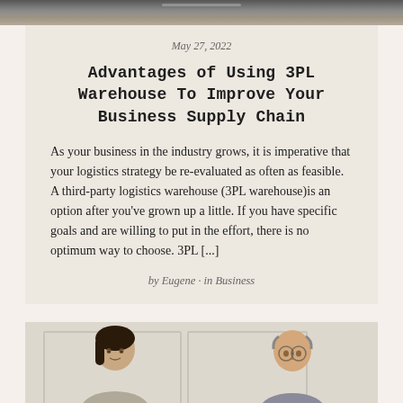[Figure (photo): Top strip showing a road or highway photo, cropped at the top of the card]
May 27, 2022
Advantages of Using 3PL Warehouse To Improve Your Business Supply Chain
As your business in the industry grows, it is imperative that your logistics strategy be re-evaluated as often as feasible. A third-party logistics warehouse (3PL warehouse)is an option after you've grown up a little. If you have specific goals and are willing to put in the effort, there is no optimum way to choose. 3PL [...]
by Eugene · in Business
[Figure (photo): Bottom card showing two people, a woman with dark hair on the left and a bald man with glasses on the right, against a white paneled background]